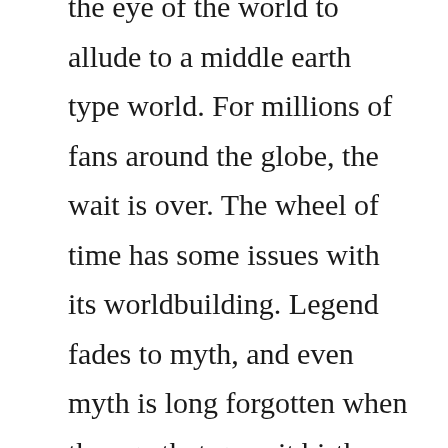the eye of the world to allude to a middle earth type world. For millions of fans around the globe, the wait is over. The wheel of time has some issues with its worldbuilding. Legend fades to myth, and even myth is long forgotten when the age that gave it birth returns again. The text is fine a bit dry, mostly superceded this was published barely halfway through the series, before quite a few mysteries were settled but generally interesting, at least to completist nerds like me. The first few books are well told,